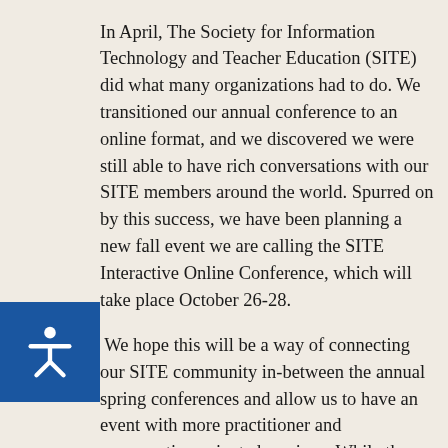In April, The Society for Information Technology and Teacher Education (SITE) did what many organizations had to do. We transitioned our annual conference to an online format, and we discovered we were still able to have rich conversations with our SITE members around the world. Spurred on by this success, we have been planning a new fall event we are calling the SITE Interactive Online Conference, which will take place October 26-28.
We hope this will be a way of connecting our SITE community in-between the annual spring conferences and allow us to have an event with more practitioner and conversation-oriented sessions. While there will still be opportunities to present research papers as we do at our annual spring research conference, we have added new presentation categories (such as birds of a feather, best practices/demo teaching, and practitioner panels) to provide space for conversations around the important issues facing teacher education today. With a conference rate of $150 and a special rate of $55 for